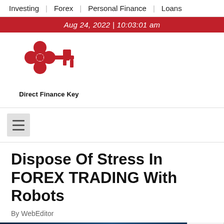Investing | Forex | Personal Finance | Loans
Aug 24, 2022 | 10:03:01 am
[Figure (logo): Direct Finance Key logo — red key icon with four-leaf clover head, text below reads 'Direct Finance Key']
[Figure (other): Hamburger menu icon (three horizontal lines) on gray background]
Dispose Of Stress In FOREX TRADING With Robots
By WebEditor
[Figure (photo): Currency Trading article image — dark blue background with chart lines, red tag reading 'Currency Trading']